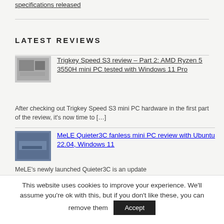specifications released
LATEST REVIEWS
Trigkey Speed S3 review – Part 2: AMD Ryzen 5 3550H mini PC tested with Windows 11 Pro
After checking out Trigkey Speed S3 mini PC hardware in the first part of the review, it's now time to […]
MeLE Quieter3C fanless mini PC review with Ubuntu 22.04, Windows 11
MeLE's newly launched Quieter3C is an update
This website uses cookies to improve your experience. We'll assume you're ok with this, but if you don't like these, you can remove them